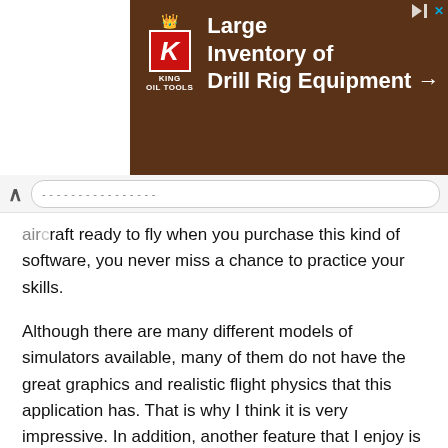[Figure (screenshot): Advertisement banner for King Oil Tools showing 'Large Inventory of Drill Rig Equipment →' with a red K logo and crown, brown/dark background with drill equipment image]
aircraft ready to fly when you purchase this kind of software, you never miss a chance to practice your skills.
Although there are many different models of simulators available, many of them do not have the great graphics and realistic flight physics that this application has. That is why I think it is very impressive. In addition, another feature that I enjoy is that it enables me to connect to the internet. This enables me to download my flight logs and save them to a file. This is a very useful feature and gives me a way to share my experiences online.